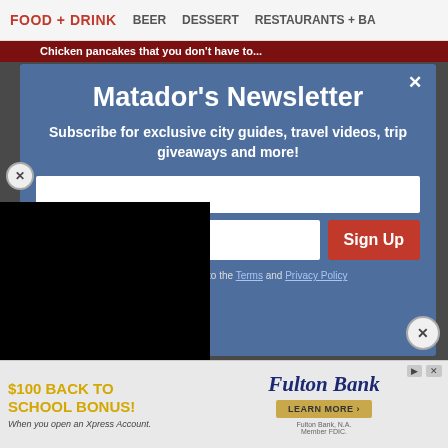FOOD + DRINK  BEER  DESSERT  RESTAURANTS + BA
Matador's Newsletter
Subscribe for exclusive city guides, travel videos, trip giveaways and more!
By signing up, I agree to the Terms and Privacy Policy
[Figure (screenshot): Advertisement banner for Fulton Bank: $100 Back to School Bonus! When you open an Xpress Account. Learn More button shown.]